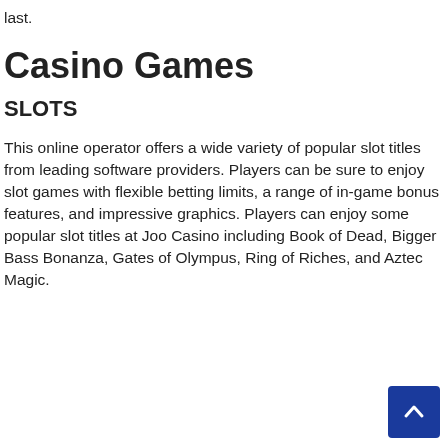last.
Casino Games
SLOTS
This online operator offers a wide variety of popular slot titles from leading software providers. Players can be sure to enjoy slot games with flexible betting limits, a range of in-game bonus features, and impressive graphics. Players can enjoy some popular slot titles at Joo Casino including Book of Dead, Bigger Bass Bonanza, Gates of Olympus, Ring of Riches, and Aztec Magic.